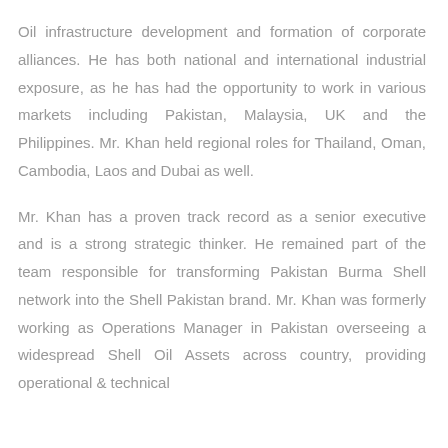Oil infrastructure development and formation of corporate alliances. He has both national and international industrial exposure, as he has had the opportunity to work in various markets including Pakistan, Malaysia, UK and the Philippines. Mr. Khan held regional roles for Thailand, Oman, Cambodia, Laos and Dubai as well.

Mr. Khan has a proven track record as a senior executive and is a strong strategic thinker. He remained part of the team responsible for transforming Pakistan Burma Shell network into the Shell Pakistan brand. Mr. Khan was formerly working as Operations Manager in Pakistan overseeing a widespread Shell Oil Assets across country, providing operational & technical